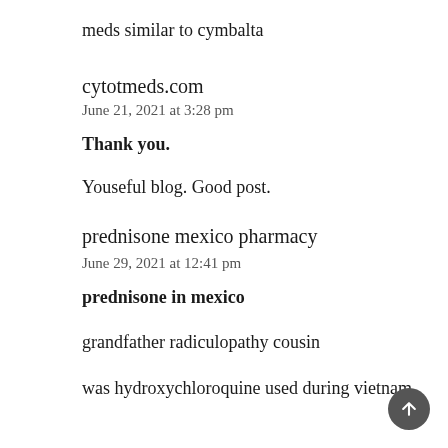meds similar to cymbalta
cytotmeds.com
June 21, 2021 at 3:28 pm
Thank you.
Youseful blog. Good post.
prednisone mexico pharmacy
June 29, 2021 at 12:41 pm
prednisone in mexico
grandfather radiculopathy cousin
was hydroxychloroquine used during vietnam